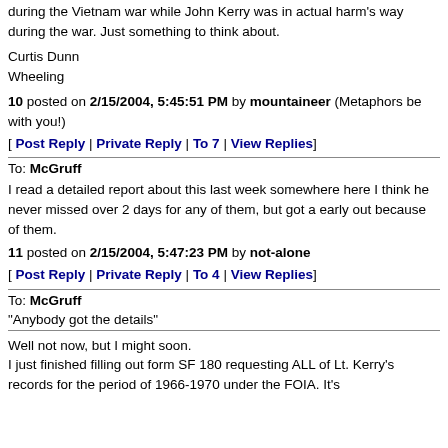during the Vietnam war while John Kerry was in actual harm's way during the war. Just something to think about.
Curtis Dunn
Wheeling
10 posted on 2/15/2004, 5:45:51 PM by mountaineer (Metaphors be with you!)
[ Post Reply | Private Reply | To 7 | View Replies]
To: McGruff
I read a detailed report about this last week somewhere here I think he never missed over 2 days for any of them, but got a early out because of them.
11 posted on 2/15/2004, 5:47:23 PM by not-alone
[ Post Reply | Private Reply | To 4 | View Replies]
To: McGruff
"Anybody got the details"
Well not now, but I might soon.
I just finished filling out form SF 180 requesting ALL of Lt. Kerry's records for the period of 1966-1970 under the FOIA. It's